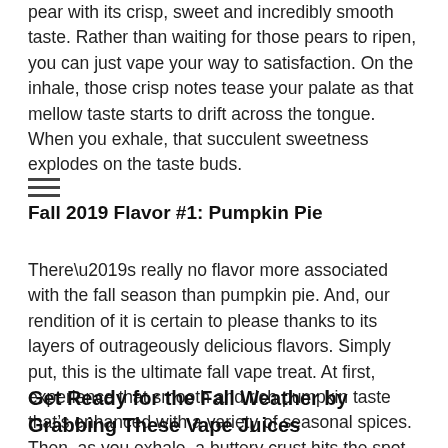pear with its crisp, sweet and incredibly smooth taste. Rather than waiting for those pears to ripen, you can just vape your way to satisfaction. On the inhale, those crisp notes tease your palate as that mellow taste starts to drift across the tongue. When you exhale, that succulent sweetness explodes on the taste buds.
Fall 2019 Flavor #1: Pumpkin Pie
There’s really no flavor more associated with the fall season than pumpkin pie. And, our rendition of it is certain to please thanks to its layers of outrageously delicious flavors. Simply put, this is the ultimate fall vape treat. At first, experience that smooth and rich pumpkin taste that’s enhanced with a variety of seasonal spices. Then, as you exhale, a buttery crust hits the spot.
Get Ready for the Fall Weather by Grabbing These Vape Juices